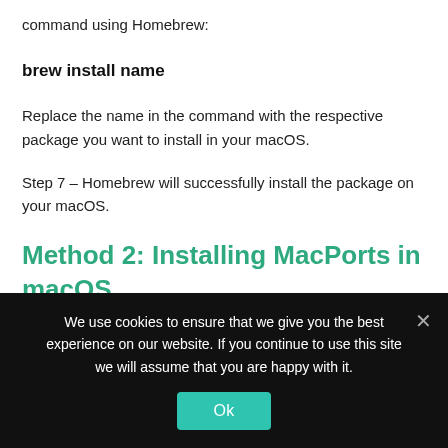command using Homebrew:
Replace the name in the command with the respective package you want to install in your macOS.
Step 7 – Homebrew will successfully install the package on your macOS.
Method 2: Installing MacPorts in macOS
Macports software is the easiest way of downloading
We use cookies to ensure that we give you the best experience on our website. If you continue to use this site we will assume that you are happy with it.